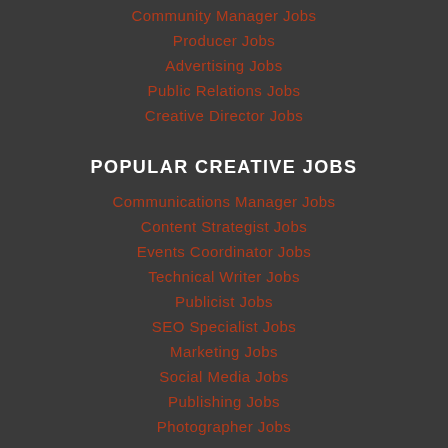Community Manager Jobs
Producer Jobs
Advertising Jobs
Public Relations Jobs
Creative Director Jobs
POPULAR CREATIVE JOBS
Communications Manager Jobs
Content Strategist Jobs
Events Coordinator Jobs
Technical Writer Jobs
Publicist Jobs
SEO Specialist Jobs
Marketing Jobs
Social Media Jobs
Publishing Jobs
Photographer Jobs